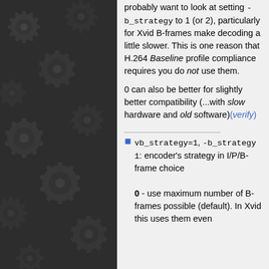[Figure (illustration): Dark background panel with repeating gear/cog pattern in dark grey tones]
probably want to look at setting -b_strategy to 1 (or 2), particularly for Xvid B-frames make decoding a little slower. This is one reason that H.264 Baseline profile compliance requires you do not use them.
0 can also be better for slightly better compatibility (...with slow hardware and old software)(verify)
vb_strategy=1, -b_strategy 1: encoder's strategy in I/P/B-frame choice
0 - use maximum number of B-frames possible (default). In Xvid this uses them even